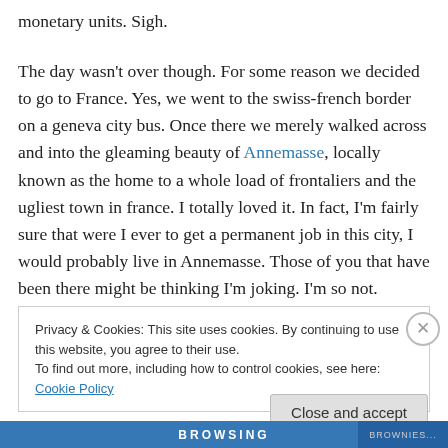monetary units. Sigh.
The day wasn't over though. For some reason we decided to go to France. Yes, we went to the swiss-french border on a geneva city bus. Once there we merely walked across and into the gleaming beauty of Annemasse, locally known as the home to a whole load of frontaliers and the ugliest town in france. I totally loved it. In fact, I'm fairly sure that were I ever to get a permanent job in this city, I would probably live in Annemasse. Those of you that have been there might be thinking I'm joking. I'm so not.
Privacy & Cookies: This site uses cookies. By continuing to use this website, you agree to their use. To find out more, including how to control cookies, see here: Cookie Policy
Close and accept